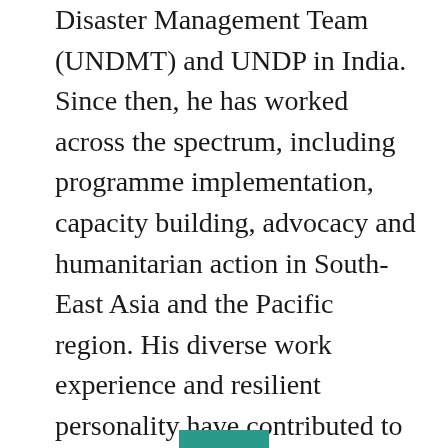Disaster Management Team (UNDMT) and UNDP in India. Since then, he has worked across the spectrum, including programme implementation, capacity building, advocacy and humanitarian action in South-East Asia and the Pacific region. His diverse work experience and resilient personality have contributed to his specialization in crisis/emergency responses during natural and man-made disasters and has got him to work in various sectors in India, Uganda, Kenya and Nigeria.